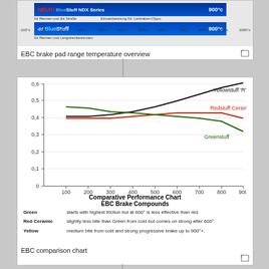[Figure (infographic): EBC brake pad range temperature overview showing NEU BlueStuff NDX Series and BlueStuff bars with temperature scale from -100°C to 1000°C]
EBC brake pad range temperature overview
[Figure (line-chart): Comparative Performance Chart EBC Brake Compounds]
Green: starts with highest friction but at 600° is less effective than red.
Red Ceramic: slightly less bite than Green from cold but comes on strong after 600°.
Yellow: medium bite from cold and strong progressive brake up to 900°+.
EBC comparison chart